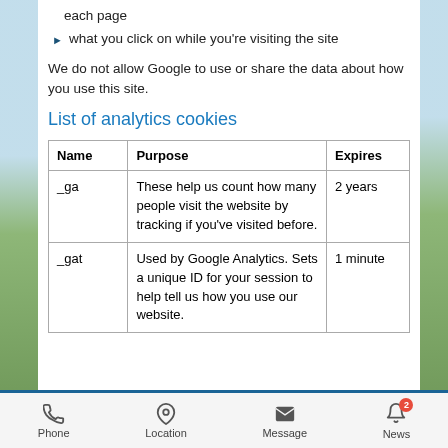each page
what you click on while you're visiting the site
We do not allow Google to use or share the data about how you use this site.
List of analytics cookies
| Name | Purpose | Expires |
| --- | --- | --- |
| _ga | These help us count how many people visit the website by tracking if you've visited before. | 2 years |
| _gat | Used by Google Analytics. Sets a unique ID for your session to help tell us how you use our website. | 1 minute |
Phone | Location | Message | News